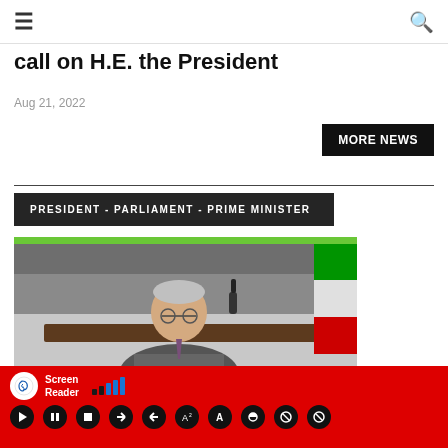≡  [search icon]
call on H.E. the President
Aug 21, 2022
MORE NEWS
PRESIDENT - PARLIAMENT - PRIME MINISTER
[Figure (photo): A man in a grey suit speaking, seated at a desk in a parliament chamber, with a flag visible on the right side. The photo has a green top border.]
Screen Reader [accessibility toolbar with ear icon, signal bars, and playback controls]